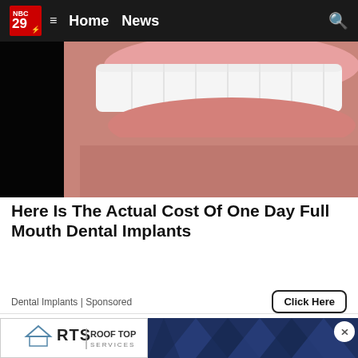NBC 29  ≡  Home  News
[Figure (photo): Close-up photo of a person's mouth showing white dental veneers/implants with beard stubble visible]
Here Is The Actual Cost Of One Day Full Mouth Dental Implants
Dental Implants | Sponsored
[Figure (photo): Partial view of a second medical/dental related image, cropped at bottom of page]
[Figure (logo): RTS Roof Top Services advertisement banner with logo on white background and blue triangular pattern]